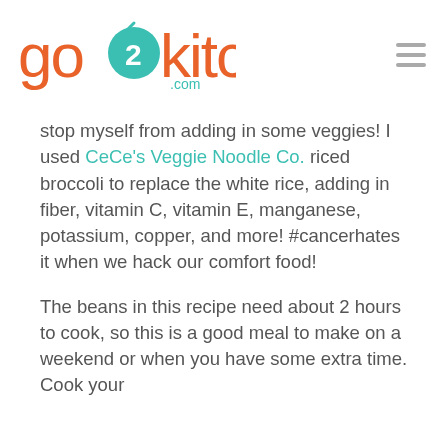go2kitchens.com
stop myself from adding in some veggies! I used CeCe's Veggie Noodle Co. riced broccoli to replace the white rice, adding in fiber, vitamin C, vitamin E, manganese, potassium, copper, and more! #cancerhates it when we hack our comfort food!
The beans in this recipe need about 2 hours to cook, so this is a good meal to make on a weekend or when you have some extra time. Cook your beans according to the...